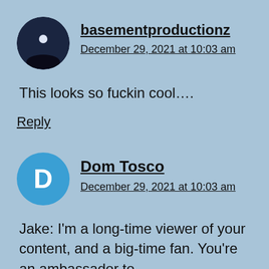[Figure (photo): Circular avatar image showing a dark/moonlit scene for user basementproductionz]
basementproductionz
December 29, 2021 at 10:03 am
This looks so fuckin cool….
Reply
[Figure (illustration): Circular blue avatar with letter D for user Dom Tosco]
Dom Tosco
December 29, 2021 at 10:03 am
Jake: I'm a long-time viewer of your content, and a big-time fan. You're an ambassador to